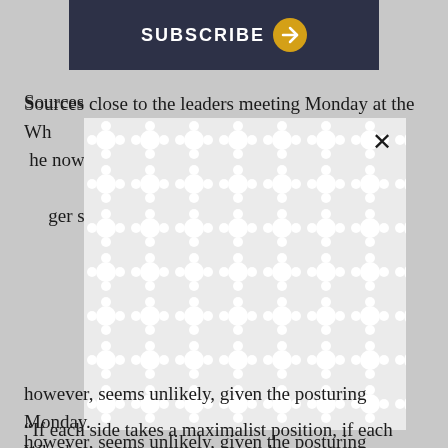[Figure (screenshot): Subscribe button UI element with dark navy background, white bold text 'SUBSCRIBE' and a gold circular arrow icon]
Sources close to the leaders meeting Monday at the Wh... was expected... he now-d... eph Biden. ...to use the alt... ger savings...
[Figure (other): Modal overlay with repeating bubble/chain pattern in light gray on white background, with an X close button in top right]
Wheth... however, seems unlikely, given the posturing Monday.
“If each side takes a maximalist position, if each